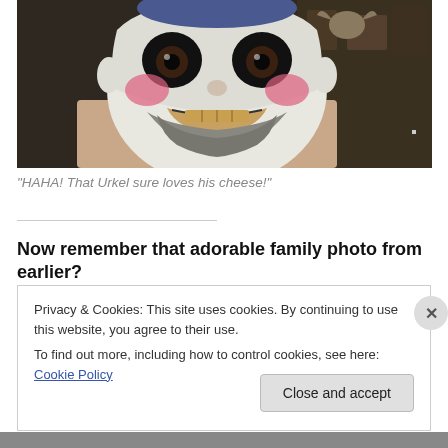[Figure (photo): A person wearing white face paint with clown makeup including rosy cheeks and dark around the eyes, with a beard, grinning. Another figure is partially visible in the background. Indoor setting.]
"HAHA! That Urkel sure loves his cheese!"
Now remember that adorable family photo from earlier?
Privacy & Cookies: This site uses cookies. By continuing to use this website, you agree to their use.
To find out more, including how to control cookies, see here: Cookie Policy